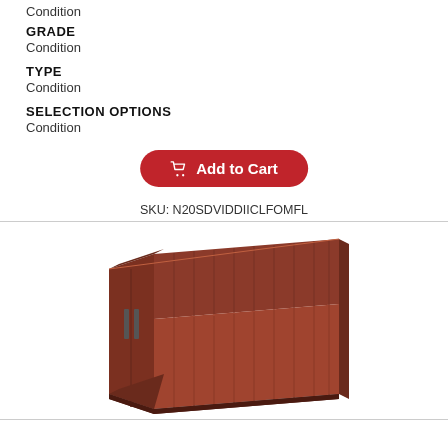Condition
GRADE
Condition
TYPE
Condition
SELECTION OPTIONS
Condition
Add to Cart
SKU: N20SDVIDDIICLFOMFL
[Figure (photo): 3D perspective photo of a brown/rust-colored shipping container showing door end and side, isolated on white background]